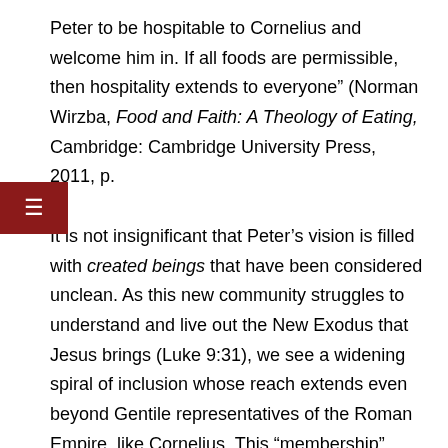Peter to be hospitable to Cornelius and welcome him in. If all foods are permissible, then hospitality extends to everyone” (Norman Wirzba, Food and Faith: A Theology of Eating, Cambridge: Cambridge University Press, 2011, p. ).
It is not insignificant that Peter’s vision is filled with created beings that have been considered unclean. As this new community struggles to understand and live out the New Exodus that Jesus brings (Luke 9:31), we see a widening spiral of inclusion whose reach extends even beyond Gentile representatives of the Roman Empire, like Cornelius. This “membership” must also extend to the whole created world! The biblical vision seems always to include the web of creation, a whole creation that is